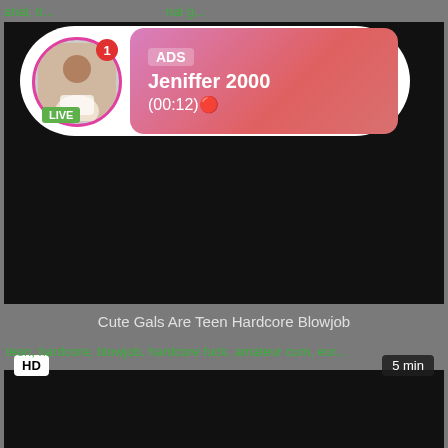anal, tr... nal g...
[Figure (screenshot): Live stream ad overlay showing avatar with LIVE badge, notification badge, and pink gradient card with ADS label, username Jeniffer 2000, and timer (00:12)]
HD
5 min
Cute Gals Are Teen Hardcore Blowjob
teen, hardcore, blowjob, hardcore fuck, amateur cum, eur...
[Figure (screenshot): Dark video thumbnail area]